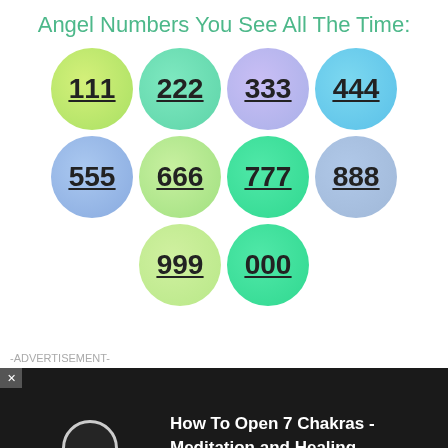Angel Numbers You See All The Time:
[Figure (infographic): Grid of colored circles with angel numbers: 111, 222, 333, 444 (row 1); 555, 666, 777, 888 (row 2); 999, 000 (row 3). Each number is underlined and displayed inside a pastel gradient circle.]
-ADVERTISEMENT-
[Figure (screenshot): Dark video player bar showing a circle/eclipse icon and text 'How To Open 7 Chakras - Meditation and Healing - SunSigns.Org' with a gold dot accent.]